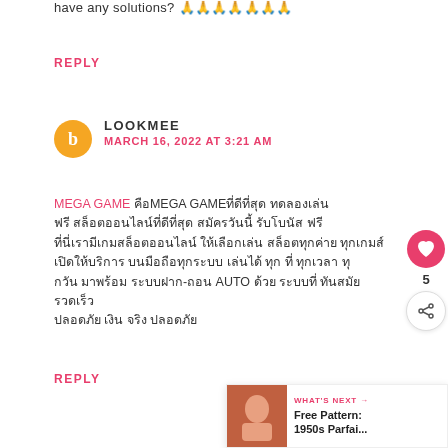have any solutions? 🙏🙏🙏🙏🙏🙏🙏
REPLY
LOOKMEE
MARCH 16, 2022 AT 3:21 AM
MEGA GAME [Thai text] MEGA GAME [Thai text] [Thai text] [Thai text] [Thai text] [Thai text] [Thai text] [Thai text] [Thai text] [Thai text] [Thai text] [Thai text] [Thai text] [Thai text] [Thai text] [Thai text] [Thai text] [Thai text] [Thai text]
REPLY